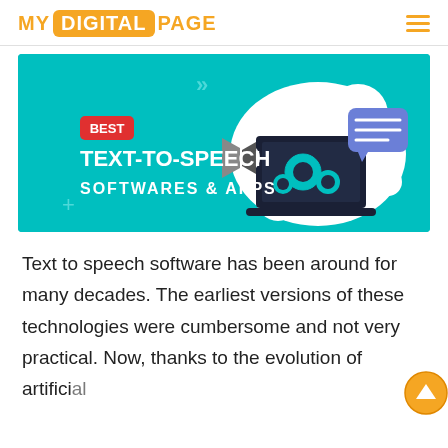MY DIGITAL PAGE
[Figure (illustration): Banner image for 'Best Text-to-Speech Softwares & Apps' article on a teal background, showing a laptop with gears, a speech bubble, and a megaphone. Text reads BEST (red badge), TEXT-TO-SPEECH, SOFTWARES & APPS.]
Text to speech software has been around for many decades. The earliest versions of these technologies were cumbersome and not very practical. Now, thanks to the evolution of artificial